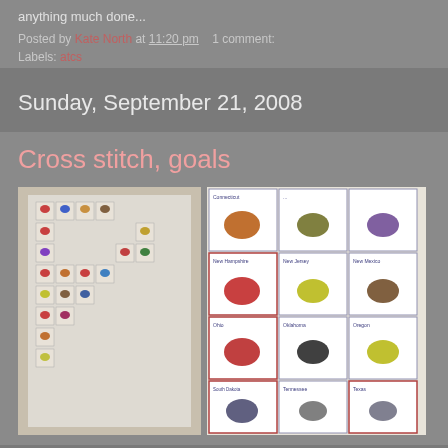anything much done...
Posted by Kate North at 11:20 pm   1 comment:
Labels: atcs
Sunday, September 21, 2008
Cross stitch, goals
[Figure (photo): Two photos of a cross stitch project showing state birds embroidered in small squares arranged in an L-shape layout (left photo) and a close-up of individual bird squares with state names (right photo).]